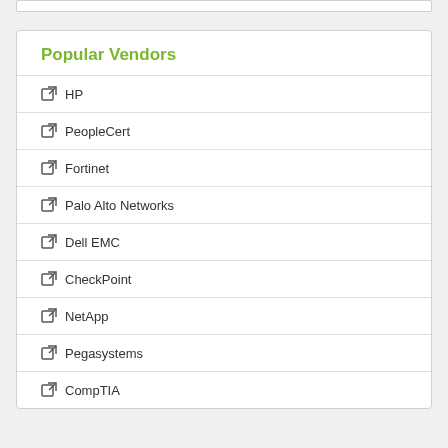Popular Vendors
HP
PeopleCert
Fortinet
Palo Alto Networks
Dell EMC
CheckPoint
NetApp
Pegasystems
CompTIA